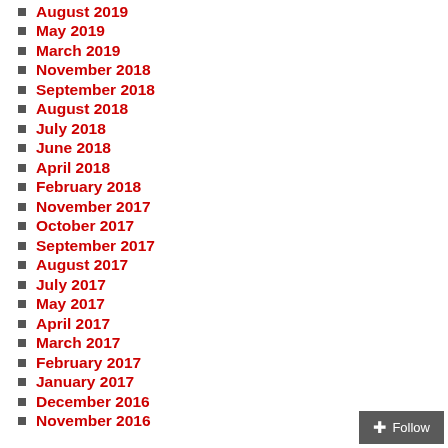August 2019
May 2019
March 2019
November 2018
September 2018
August 2018
July 2018
June 2018
April 2018
February 2018
November 2017
October 2017
September 2017
August 2017
July 2017
May 2017
April 2017
March 2017
February 2017
January 2017
December 2016
November 2016